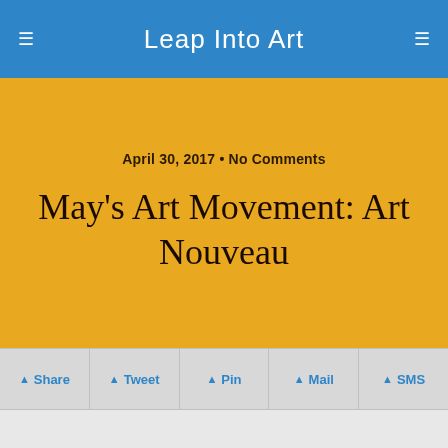Leap Into Art
April 30, 2017 • No Comments
May's Art Movement: Art Nouveau
Share  Tweet  Pin  Mail  SMS